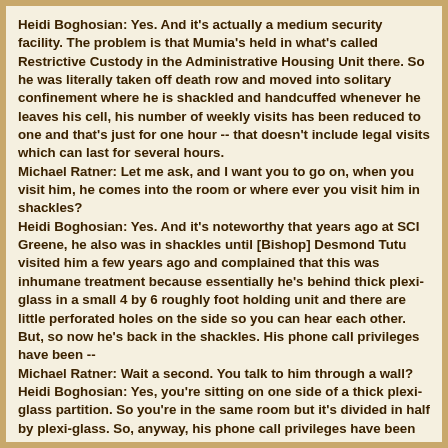Heidi Boghosian: Yes. And it's actually a medium security facility. The problem is that Mumia's held in what's called Restrictive Custody in the Administrative Housing Unit there. So he was literally taken off death row and moved into solitary confinement where he is shackled and handcuffed whenever he leaves his cell, his number of weekly visits has been reduced to one and that's just for one hour -- that doesn't include legal visits which can last for several hours.
Michael Ratner: Let me ask, and I want you to go on, when you visit him, he comes into the room or where ever you visit him in shackles?
Heidi Boghosian: Yes. And it's noteworthy that years ago at SCI Greene, he also was in shackles until [Bishop] Desmond Tutu visited him a few years ago and complained that this was inhumane treatment because essentially he's behind thick plexi-glass in a small 4 by 6 roughly foot holding unit and there are little perforated holes on the side so you can hear each other. But, so now he's back in the shackles. His phone call privileges have been --
Michael Ratner: Wait a second. You talk to him through a wall?
Heidi Boghosian: Yes, you're sitting on one side of a thick plexi-glass partition. So you're in the same room but it's divided in half by plexi-glass. So, anyway, his phone call privileges have been reduced. He can only have, I think it's ten stamps and envelopes a week. And, as a writer, you can well imagine that Mumia writes probably at least ten letters a day so this is a dramatic change. He